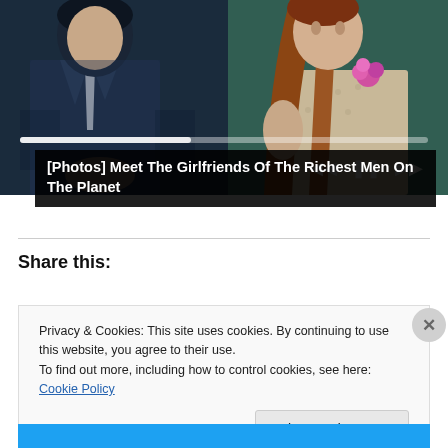[Figure (photo): A man in a dark suit with a white tie seated next to a woman with long auburn hair wearing a lace outfit with a pink flower, with media playback controls overlaid at the bottom]
[Photos] Meet The Girlfriends Of The Richest Men On The Planet
Share this:
Privacy & Cookies: This site uses cookies. By continuing to use this website, you agree to their use.
To find out more, including how to control cookies, see here: Cookie Policy